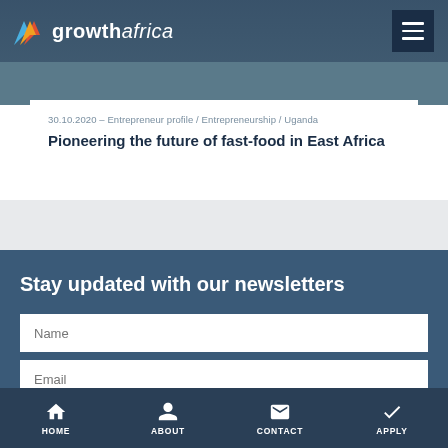growthafrica
30.10.2020 - Entrepreneur profile / Entrepreneurship / Uganda
Pioneering the future of fast-food in East Africa
Stay updated with our newsletters
Name
Email
Interest
HOME  ABOUT  CONTACT  APPLY